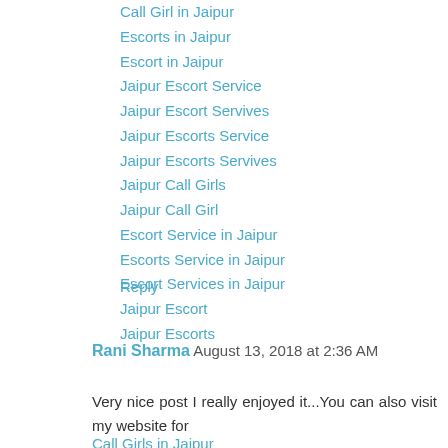Call Girl in Jaipur
Escorts in Jaipur
Escort in Jaipur
Jaipur Escort Service
Jaipur Escort Servives
Jaipur Escorts Service
Jaipur Escorts Servives
Jaipur Call Girls
Jaipur Call Girl
Escort Service in Jaipur
Escorts Service in Jaipur
Escort Services in Jaipur
Jaipur Escort
Jaipur Escorts
Reply
Rani Sharma  August 13, 2018 at 2:36 AM
Very nice post I really enjoyed it...You can also visit my website for
Call Girls in Jaipur